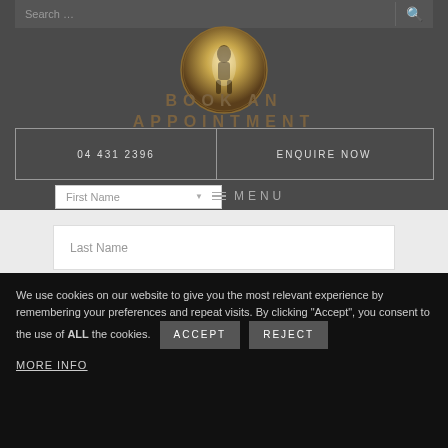[Figure (screenshot): Website screenshot showing a booking/appointment page for a beauty or cosmetic surgery clinic. Contains search bar, circular logo, 'BOOK AN APPOINTMENT' heading, phone number and enquire buttons, First Name field, MENU navigation, Last Name field, Email field, and a cookie consent banner.]
BOOK AN APPOINTMENT
04 431 2396
ENQUIRE NOW
First Name
MENU
Last Name
Email
We use cookies on our website to give you the most relevant experience by remembering your preferences and repeat visits. By clicking "Accept", you consent to the use of ALL the cookies.
ACCEPT
REJECT
MORE INFO